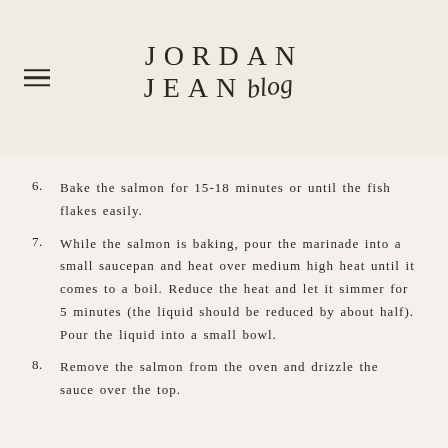JORDAN JEAN blog
6. Bake the salmon for 15-18 minutes or until the fish flakes easily.
7. While the salmon is baking, pour the marinade into a small saucepan and heat over medium high heat until it comes to a boil. Reduce the heat and let it simmer for 5 minutes (the liquid should be reduced by about half). Pour the liquid into a small bowl.
8. Remove the salmon from the oven and drizzle the sauce over the top.